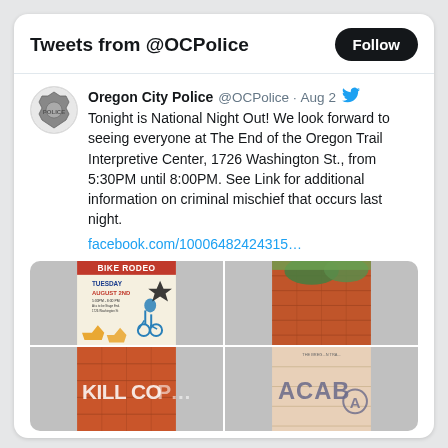Tweets from @OCPolice
Oregon City Police @OCPolice · Aug 2
Tonight is National Night Out! We look forward to seeing everyone at The End of the Oregon Trail Interpretive Center, 1726 Washington St., from 5:30PM until 8:00PM. See Link for additional information on criminal mischief that occurs last night.
facebook.com/10006482424315…
[Figure (photo): Four-image grid: top-left is a Bike Rodeo event flyer (Tuesday August 2nd), top-right shows an orange/brick wall with greenery, bottom-left shows graffiti 'KILL COP' on orange wall, bottom-right shows graffiti 'ACAB' with anarchist symbol on a wall.]